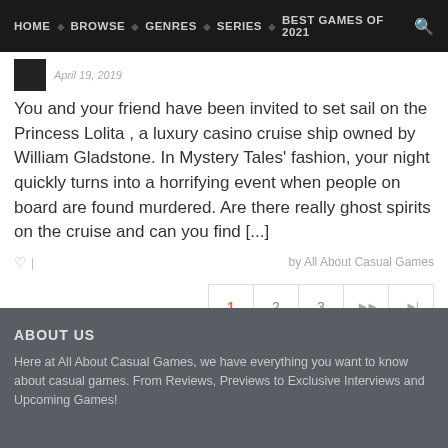HOME  BROWSE  GENRES  SERIES  BEST GAMES OF 2021
April 19, 2019
You and your friend have been invited to set sail on the Princess Lolita , a luxury casino cruise ship owned by William Gladstone. In Mystery Tales’ fashion, your night quickly turns into a horrifying event when people on board are found murdered. Are there really ghost spirits on the cruise and can you find [...]
by All About Casual Games
1  2  3  ►►  ►|
ABOUT US
Here at All About Casual Games, we have everything you want to know about casual games. From Reviews, Previews to Exclusive Interviews and Upcoming Games!